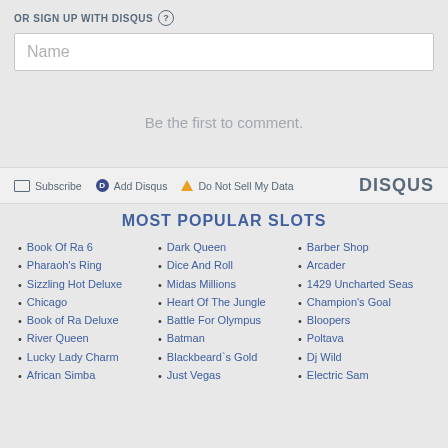OR SIGN UP WITH DISQUS (?)
Name
Be the first to comment.
Subscribe  Add Disqus  Do Not Sell My Data  DISQUS
MOST POPULAR SLOTS
Book Of Ra 6
Pharaoh's Ring
Sizzling Hot Deluxe
Chicago
Book of Ra Deluxe
River Queen
Lucky Lady Charm
African Simba
Dark Queen
Dice And Roll
Midas Millions
Heart Of The Jungle
Battle For Olympus
Batman
Blackbeard`s Gold
Just Vegas
Barber Shop
Arcader
1429 Uncharted Seas
Champion's Goal
Bloopers
Poltava
Dj Wild
Electric Sam